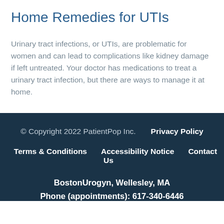Home Remedies for UTIs
Urinary tract infections, or UTIs, are problematic for women and can lead to complications like kidney damage if left untreated. Your doctor has medications to treat a urinary tract infection, but there are ways to manage it at home.
© Copyright 2022 PatientPop Inc.     Privacy Policy     Terms & Conditions     Accessibility Notice     Contact Us     BostonUrogyn, Wellesley, MA     Phone (appointments): 617-340-6446